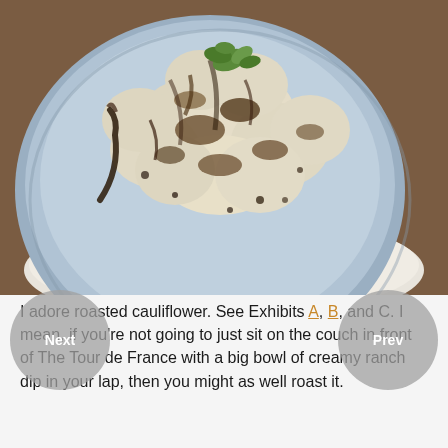[Figure (photo): Overhead close-up photograph of roasted cauliflower florets with char marks and fresh herbs on a light blue-grey plate, placed on a white cloth napkin over a wooden surface.]
I adore roasted cauliflower. See Exhibits A, B, and C. I mean, if you're not going to just sit on the couch in front of The Tour de France with a big bowl of creamy ranch dip in your lap, then you might as well roast it.